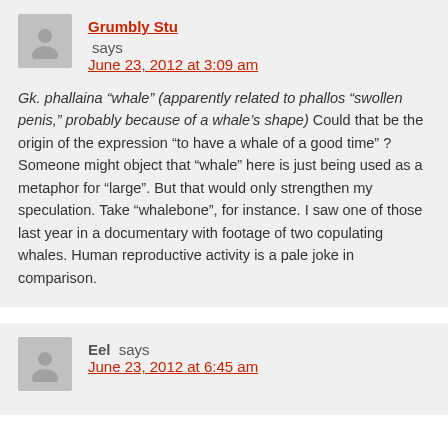Grumbly Stu says
June 23, 2012 at 3:09 am
Gk. phallaina “whale” (apparently related to phallos “swollen penis,” probably because of a whale’s shape) Could that be the origin of the expression “to have a whale of a good time” ? Someone might object that “whale” here is just being used as a metaphor for “large”. But that would only strengthen my speculation. Take “whalebone”, for instance. I saw one of those last year in a documentary with footage of two copulating whales. Human reproductive activity is a pale joke in comparison.
Eel says
June 23, 2012 at 6:45 am